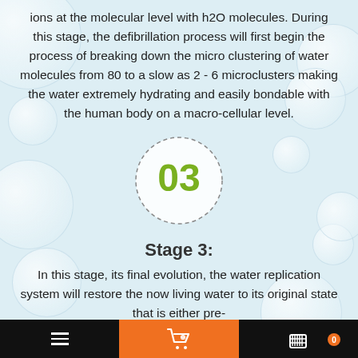ions at the molecular level with h2O molecules. During this stage, the defibrillation process will first begin the process of breaking down the micro clustering of water molecules from 80 to a slow as 2 - 6 microclusters making the water extremely hydrating and easily bondable with the human body on a macro-cellular level.
[Figure (other): Circular dashed-border badge with the number 03 in olive/green color on a light white circular background]
Stage 3:
In this stage, its final evolution, the water replication system will restore the now living water to its original state that is either pre-